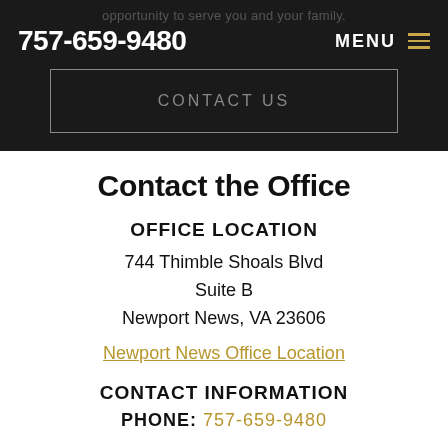opportunity to serve you and your family.
757-659-9480   MENU
CONTACT US
Contact the Office
OFFICE LOCATION
744 Thimble Shoals Blvd
Suite B
Newport News, VA 23606
Newport News Office Location
CONTACT INFORMATION
PHONE: 757-659-9480